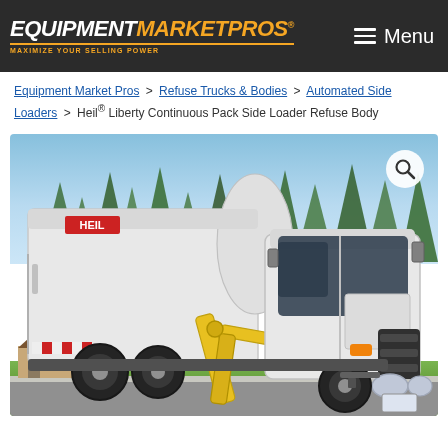EQUIPMENT MARKET PROS — MAXIMIZE YOUR SELLING POWER | Menu
Equipment Market Pros > Refuse Trucks & Bodies > Automated Side Loaders > Heil® Liberty Continuous Pack Side Loader Refuse Body
[Figure (photo): White Heil Liberty Continuous Pack Side Loader refuse truck with yellow arm mechanism, parked on a suburban street with pine trees and houses in the background. A search magnifier icon appears in the upper right corner of the image.]